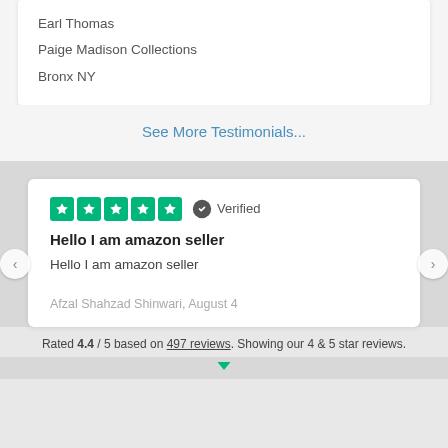Earl Thomas
Paige Madison Collections
Bronx NY
See More Testimonials...
[Figure (other): Five green star rating boxes (Trustpilot style) with Verified badge]
Hello I am amazon seller
Hello I am amazon seller
Afzal Shahzad Shinwari, August 4
Rated 4.4 / 5 based on 497 reviews. Showing our 4 & 5 star reviews.